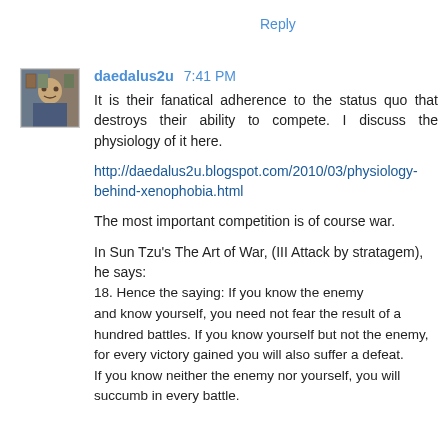Reply
daedalus2u  7:41 PM
It is their fanatical adherence to the status quo that destroys their ability to compete. I discuss the physiology of it here.
http://daedalus2u.blogspot.com/2010/03/physiology-behind-xenophobia.html
The most important competition is of course war.
In Sun Tzu's The Art of War, (III Attack by stratagem), he says:
18. Hence the saying: If you know the enemy and know yourself, you need not fear the result of a hundred battles. If you know yourself but not the enemy, for every victory gained you will also suffer a defeat. If you know neither the enemy nor yourself, you will succumb in every battle.